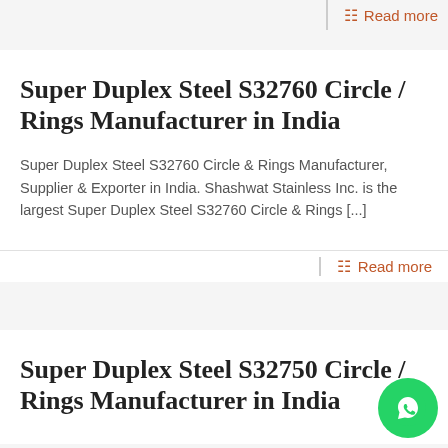Read more
Super Duplex Steel S32760 Circle / Rings Manufacturer in India
Super Duplex Steel S32760 Circle & Rings Manufacturer, Supplier & Exporter in India. Shashwat Stainless Inc. is the largest Super Duplex Steel S32760 Circle & Rings [...]
Read more
Super Duplex Steel S32750 Circle / Rings Manufacturer in India